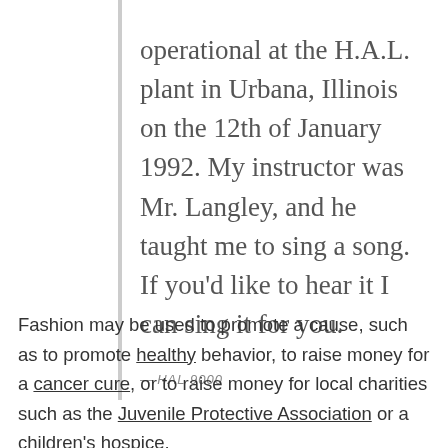operational at the H.A.L. plant in Urbana, Illinois on the 12th of January 1992. My instructor was Mr. Langley, and he taught me to sing a song. If you'd like to hear it I can sing it for you.
— HAL 9000
Fashion may be used to promote a cause, such as to promote healthy behavior, to raise money for a cancer cure, or to raise money for local charities such as the Juvenile Protective Association or a children's hospice.
One up-and-coming fashion cause is trashion, which is using